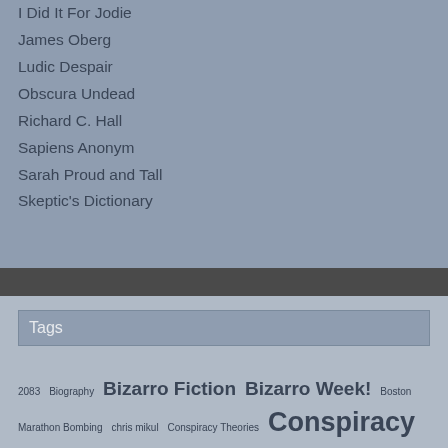I Did It For Jodie
James Oberg
Ludic Despair
Obscura Undead
Richard C. Hall
Sapiens Anonym
Sarah Proud and Tall
Skeptic's Dictionary
Tags
2083 Biography Bizarro Fiction Bizarro Week! Boston Marathon Bombing chris mikul Conspiracy Theories Conspiracy theory Depictions of madness Experimental Fiction Extreme Horror fiction Halloween Week Horror Houdini's Revenge Humor